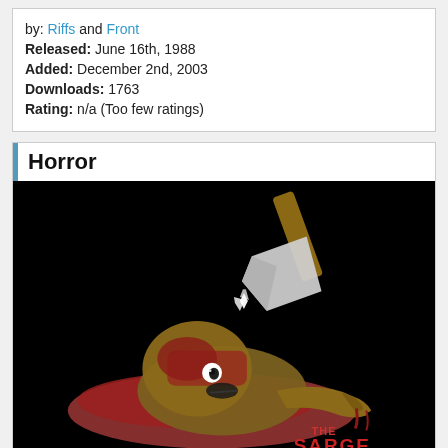by: Riffs and Front
Released: June 16th, 1988
Added: December 2nd, 2003
Downloads: 1763
Rating: n/a (Too few ratings)
Horror
[Figure (illustration): Dark horror game artwork showing a figure being struck by an axe, with blood pooling, on a black background. Text reads 'THE SARGE' in the bottom right corner.]